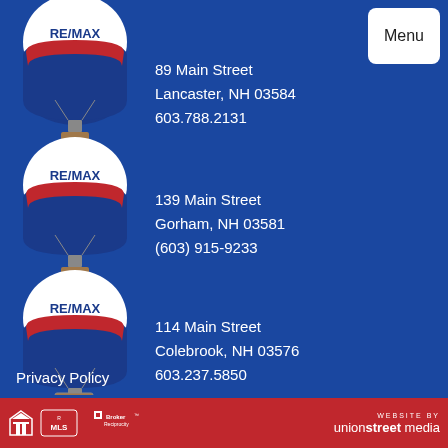[Figure (logo): Menu button - white rounded rectangle with 'Menu' text]
[Figure (illustration): Three RE/MAX hot air balloons stacked vertically on the left side. Each balloon has white top with RE/MAX logo, red middle band, and blue bottom. They have small baskets at the bottom.]
89 Main Street
Lancaster, NH 03584
603.788.2131
139 Main Street
Gorham, NH 03581
(603) 915-9233
114 Main Street
Colebrook, NH 03576
603.237.5850
Privacy Policy
Equal Housing Opportunity | MLS | Broker Reciprocity | WEBSITE BY unionstreet media